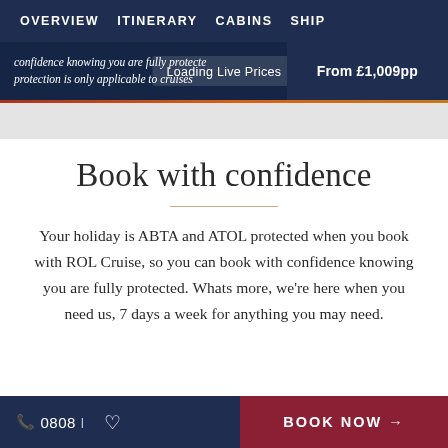OVERVIEW  ITINERARY  CABINS  SHIP
confidence knowing you are fully protected. protection is only applicable to cruises
Loading Live Prices
From £1,009pp
Book with confidence
Your holiday is ABTA and ATOL protected when you book with ROL Cruise, so you can book with confidence knowing you are fully protected. Whats more, we're here when you need us, 7 days a week for anything you may need.
0808  ♡  BOOK NOW →